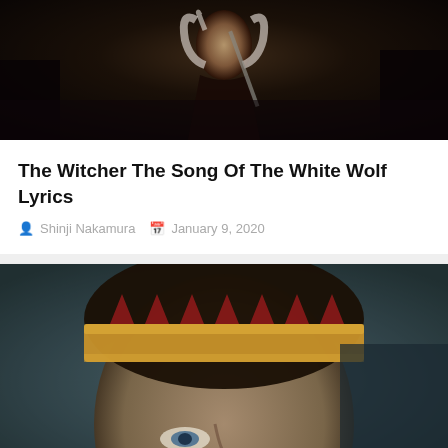[Figure (photo): Dark fantasy scene from The Witcher showing a silver-haired female character holding a sword]
The Witcher The Song Of The White Wolf Lyrics
Shinji Nakamura   January 9, 2020
[Figure (photo): Close-up of a person wearing a golden crown with red triangular points, face partially visible]
Will Leila Season 2 Release?